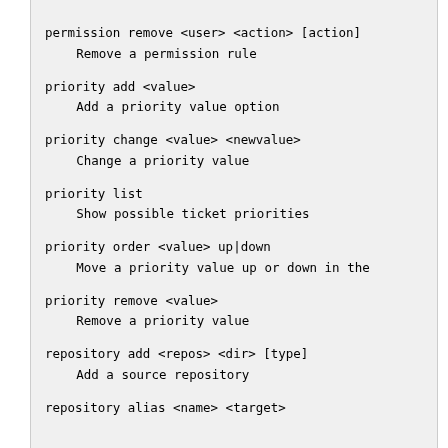permission remove <user> <action> [action]
    Remove a permission rule
priority add <value>
    Add a priority value option
priority change <value> <newvalue>
    Change a priority value
priority list
    Show possible ticket priorities
priority order <value> up|down
    Move a priority value up or down in the
priority remove <value>
    Remove a priority value
repository add <repos> <dir> [type]
    Add a source repository
repository alias <name> <target>